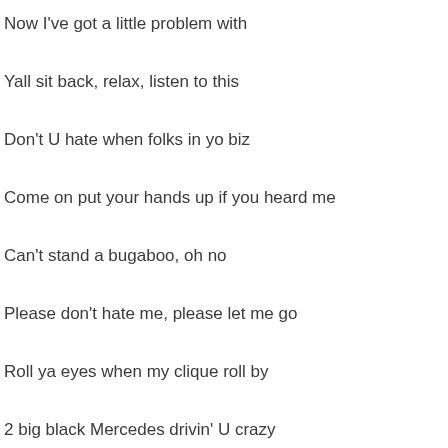Now I've got a little problem with
Yall sit back, relax, listen to this
Don't U hate when folks in yo biz
Come on put your hands up if you heard me
Can't stand a bugaboo, oh no
Please don't hate me, please let me go
Roll ya eyes when my clique roll by
2 big black Mercedes drivin' U crazy